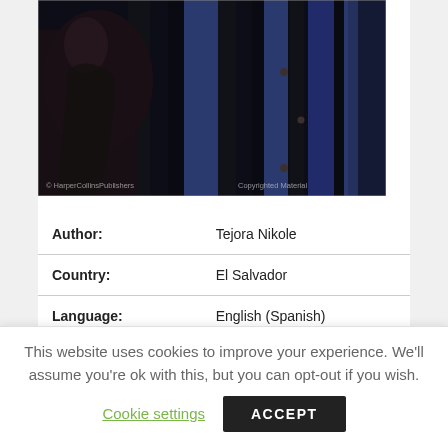[Figure (photo): Dark book cover image showing a shadowy figure against dark vertical bars with blue background. Watermarks read '© HarperCollinsPublishers' at bottom left and 'Copyrighted Material' at bottom right.]
| Author: | Tejora Nikole |
| Country: | El Salvador |
| Language: | English (Spanish) |
This website uses cookies to improve your experience. We'll assume you're ok with this, but you can opt-out if you wish.
Cookie settings   ACCEPT